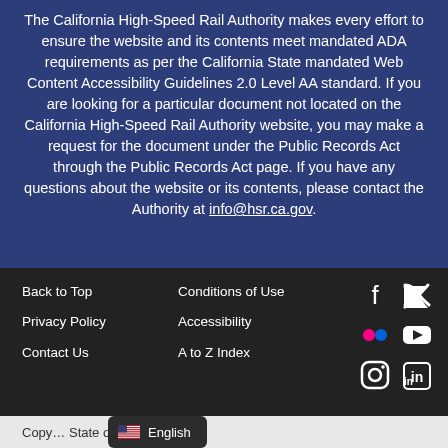The California High-Speed Rail Authority makes every effort to ensure the website and its contents meet mandated ADA requirements as per the California State mandated Web Content Accessibility Guidelines 2.0 Level AA standard. If you are looking for a particular document not located on the California High-Speed Rail Authority website, you may make a request for the document under the Public Records Act through the Public Records Act page. If you have any questions about the website or its contents, please contact the Authority at info@hsr.ca.gov.
Back to Top
Conditions of Use
Privacy Policy
Accessibility
Contact Us
A to Z Index
[Figure (infographic): Social media icons: Facebook, Twitter, Flickr, YouTube, Instagram, LinkedIn]
Copy... State of California